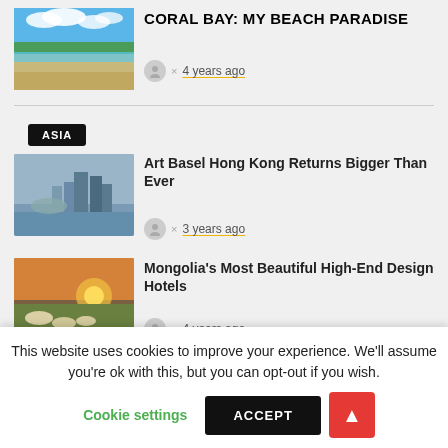[Figure (photo): Aerial view of Coral Bay beach with turquoise water, sandy beach, and tropical vegetation under blue sky with clouds]
CORAL BAY: MY BEACH PARADISE
× 4 years ago
ASIA
[Figure (photo): Hong Kong harbor skyline with skyscrapers and a large reclining sculpture in the foreground, cloudy sky]
Art Basel Hong Kong Returns Bigger Than Ever
× 3 years ago
[Figure (photo): Mongolian landscape at sunrise/sunset with traditional ger tents on a vast plain]
Mongolia's Most Beautiful High-End Design Hotels
× 4 years ago
This website uses cookies to improve your experience. We'll assume you're ok with this, but you can opt-out if you wish.
Cookie settings
ACCEPT